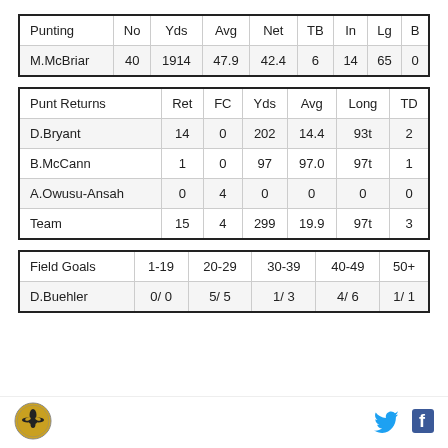| Punting | No | Yds | Avg | Net | TB | In | Lg | B |
| --- | --- | --- | --- | --- | --- | --- | --- | --- |
| M.McBriar | 40 | 1914 | 47.9 | 42.4 | 6 | 14 | 65 | 0 |
| Punt Returns | Ret | FC | Yds | Avg | Long | TD |
| --- | --- | --- | --- | --- | --- | --- |
| D.Bryant | 14 | 0 | 202 | 14.4 | 93t | 2 |
| B.McCann | 1 | 0 | 97 | 97.0 | 97t | 1 |
| A.Owusu-Ansah | 0 | 4 | 0 | 0 | 0 | 0 |
| Team | 15 | 4 | 299 | 19.9 | 97t | 3 |
| Field Goals | 1-19 | 20-29 | 30-39 | 40-49 | 50+ |
| --- | --- | --- | --- | --- | --- |
| D.Buehler | 0/ 0 | 5/ 5 | 1/ 3 | 4/ 6 | 1/ 1 |
[Figure (logo): New Orleans Saints logo — circular gold fleur-de-lis emblem]
[Figure (logo): Twitter bird icon in cyan blue]
[Figure (logo): Facebook f icon in dark blue]